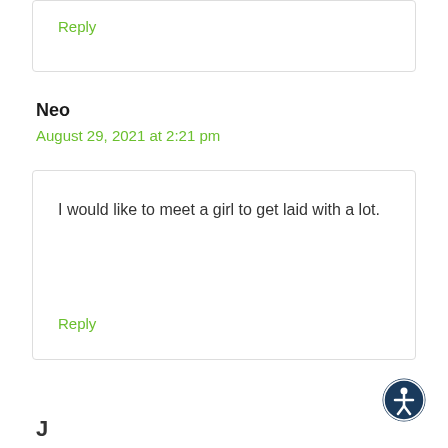Reply
Neo
August 29, 2021 at 2:21 pm
I would like to meet a girl to get laid with a lot.
Reply